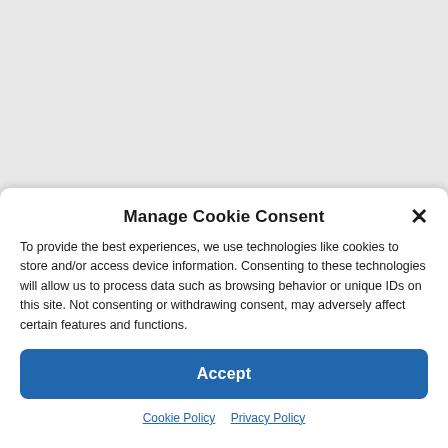Manage Cookie Consent
To provide the best experiences, we use technologies like cookies to store and/or access device information. Consenting to these technologies will allow us to process data such as browsing behavior or unique IDs on this site. Not consenting or withdrawing consent, may adversely affect certain features and functions.
Accept
Cookie Policy   Privacy Policy